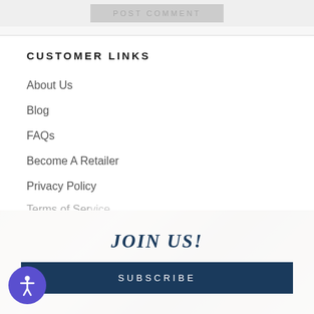[Figure (screenshot): POST COMMENT button rendered in gray muted style at top of page]
CUSTOMER LINKS
About Us
Blog
FAQs
Become A Retailer
Privacy Policy
Terms of Service (partially visible)
JOIN US!
SUBSCRIBE